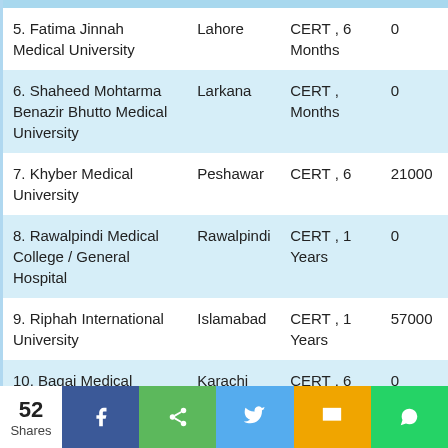| University | City | Degree | Fee |
| --- | --- | --- | --- |
| 5. Fatima Jinnah Medical University | Lahore | CERT , 6 Months | 0 |
| 6. Shaheed Mohtarma Benazir Bhutto Medical University | Larkana | CERT , 6 Months | 0 |
| 7. Khyber Medical University | Peshawar | CERT , 6 | 21000 |
| 8. Rawalpindi Medical College / General Hospital | Rawalpindi | CERT , 1 Years | 0 |
| 9. Riphah International University | Islamabad | CERT , 1 Years | 57000 |
| 10. Baqai Medical University/hospital | Karachi | CERT , 6 | 0 |
| 11. Hamdard University | Karachi | CERT , 6 Months | 0 |
52 Shares